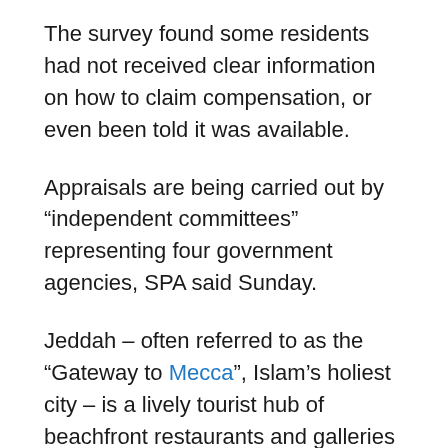The survey found some residents had not received clear information on how to claim compensation, or even been told it was available.
Appraisals are being carried out by “independent committees” representing four government agencies, SPA said Sunday.
Jeddah – often referred to as the “Gateway to Mecca”, Islam’s holiest city – is a lively tourist hub of beachfront restaurants and galleries that has in past months hosted a major film festival and a Formula One Grand Prix.
The demolitions risk fuelling anti-government sentiment in the 32 neighborhoods affected, many